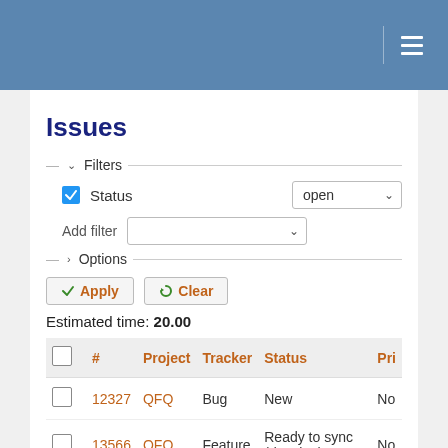Issues
Filters (collapsed section with Status: open filter and Add filter dropdown)
Options
Apply   Clear
Estimated time: 20.00
|  | # | Project | Tracker | Status | Pri |
| --- | --- | --- | --- | --- | --- |
|  | 12327 | QFQ | Bug | New | No |
|  | 13566 | QFQ | Feature | Ready to sync (develop) | No |